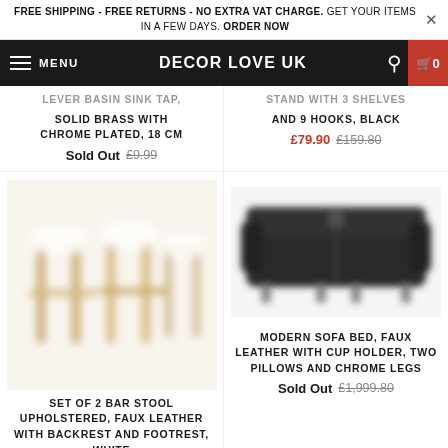FREE SHIPPING - FREE RETURNS - NO EXTRA VAT CHARGE. GET YOUR ITEMS IN A FEW DAYS. ORDER NOW
MENU   DECOR LOVE UK   0
LEVER BASIN SINK TAP, SOLID BRASS WITH CHROME PLATED, 18 CM
Sold Out £9.99
STAND WITH 3 SHELVES AND 9 HOOKS, BLACK
£79.90 £159.80
[Figure (photo): Blurred image of a set of 2 bar stools upholstered in white faux leather with wooden legs]
[Figure (photo): Blurred image of a modern black faux leather sofa bed]
SET OF 2 BAR STOOL UPHOLSTERED, FAUX LEATHER WITH BACKREST AND FOOTREST, WHITE
MODERN SOFA BED, FAUX LEATHER WITH CUP HOLDER, TWO PILLOWS AND CHROME LEGS
Sold Out £1,999.80